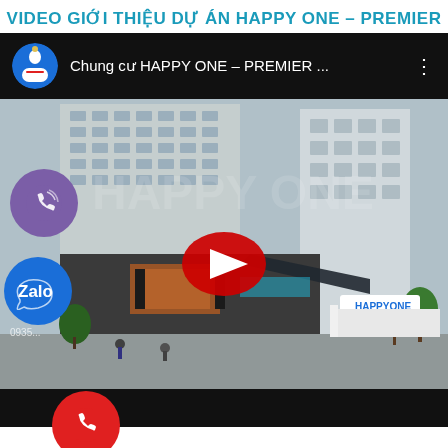VIDEO GIỚI THIỆU DỰ ÁN HAPPY ONE – PREMIER
[Figure (screenshot): YouTube video thumbnail showing a YouTube-style player interface with a channel avatar, video title 'Chung cư HAPPY ONE – PREMIER ...', and a rendered architectural image of the Happy One Premier apartment building. A red YouTube play button is centered on the thumbnail. Floating UI icons (Viber, Zalo, phone call button) overlay the left side of the video.]